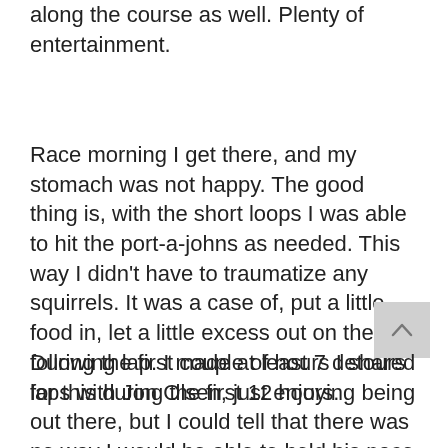along the course as well. Plenty of entertainment.
Race morning I get there, and my stomach was not happy. The good thing is, with the short loops I was able to hit the port-a-johns as needed. This way I didn't have to traumatize any squirrels. It was a case of, put a little food in, let a little excess out on the following lap. I made at least 7 detours for this during the first 12 hours.
During the first couple of hours I shared laps with Jon Olsen, just enjoying being out there, but I could tell that there was no way I would be able to hold his pace for the entire